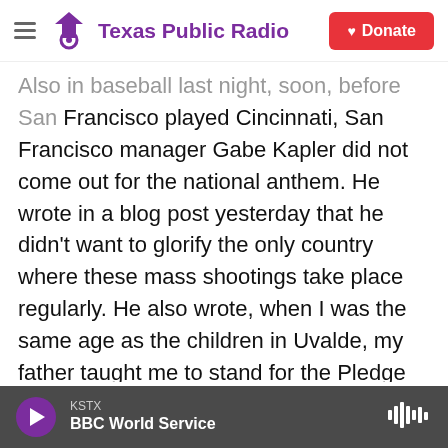Texas Public Radio | Donate
Also in baseball last night, soon, before San Francisco played Cincinnati, San Francisco manager Gabe Kapler did not come out for the national anthem. He wrote in a blog post yesterday that he didn't want to glorify the only country where these mass shootings take place regularly. He also wrote, when I was the same age as the children in Uvalde, my father taught me to stand for the Pledge of Allegiance when I believed my country was representing its people well or to protest and stay seated when it wasn't. I don't believe it is representing us well right now. And Kapler told reporters he'll continue his protest until he feels
KSTX | BBC World Service